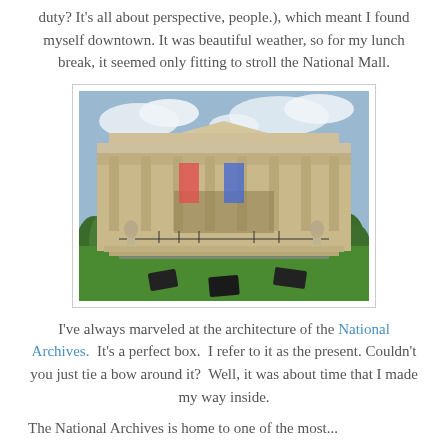duty? It's all about perspective, people.), which meant I found myself downtown. It was beautiful weather, so for my lunch break, it seemed only fitting to stroll the National Mall.
[Figure (photo): Photograph of the National Archives building in Washington D.C., a neoclassical structure with large columns and a triangular pediment, with green lawn and parked vehicles in the foreground.]
I've always marveled at the architecture of the National Archives. It's a perfect box. I refer to it as the present. Couldn't you just tie a bow around it? Well, it was about time that I made my way inside.
The National Archives is home to one of the most...